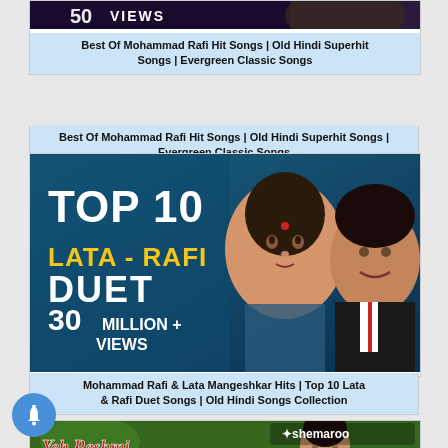[Figure (screenshot): Partial thumbnail of Mohammad Rafi hit songs video with dark/black and purple background showing '50 VIEWS' text partially cut off at top]
Best Of Mohammad Rafi Hit Songs | Old Hindi Superhit Songs | Evergreen Classic Songs
[Figure (screenshot): Thumbnail for Top 10 Lata-Rafi Duet video showing two singers (Lata Mangeshkar and Mohammad Rafi) with text 'TOP 10 LATA-RAFI DUET 30 MILLION + VIEWS' on a blue/dark background]
Mohammad Rafi & Lata Mangeshkar Hits | Top 10 Lata & Rafi Duet Songs | Old Hindi Songs Collection
[Figure (screenshot): Partial thumbnail for 'Yeh Reshmi Zulfein' video with Shemaroo branding, showing a woman against green background with stylized red text]